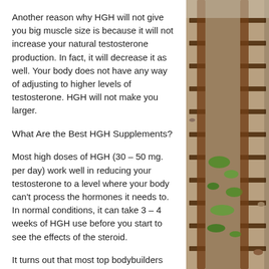Another reason why HGH will not give you big muscle size is because it will not increase your natural testosterone production. In fact, it will decrease it as well. Your body does not have any way of adjusting to higher levels of testosterone. HGH will not make you larger.
What Are the Best HGH Supplements?
Most high doses of HGH (30 – 50 mg. per day) work well in reducing your testosterone to a level where your body can't process the hormones it needs to. In normal conditions, it can take 3 – 4 weeks of HGH use before you start to see the effects of the steroid.
It turns out that most top bodybuilders also take a number of other performance enhancing drugs (e.g., cortisone, testosterone, methenolone, growth
[Figure (photo): Photograph of railway tracks with rusty rails, wooden ties, and green weeds growing alongside, viewed from a low angle.]